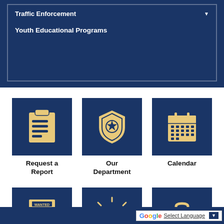Traffic Enforcement
Youth Educational Programs
[Figure (infographic): Six navigation icon tiles: clipboard/checklist (Request a Report), police badge/shield (Our Department), calendar (Calendar), wanted poster (Report a Crime), alarm/siren (Alerts), briefcase (Employment)]
Request a Report
Our Department
Calendar
Report a Crime
Alerts
Employment
Select Language ▼